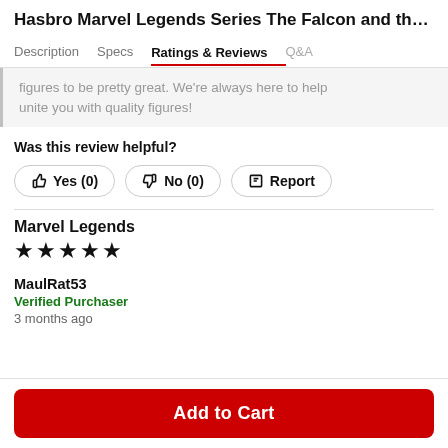Hasbro Marvel Legends Series The Falcon and the W
Description | Specs | Ratings & Reviews | Q&A
figures to be pretty great. We're always here to help unite you with quality figures!
Was this review helpful?
Yes (0)  No (0)  Report
Marvel Legends
★★★★★
MaulRat53
Verified Purchaser
3 months ago
Add to Cart